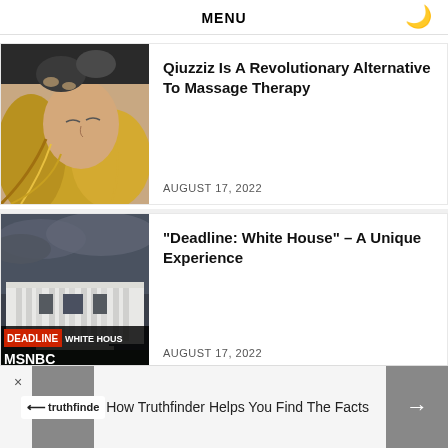MENU
[Figure (photo): Person receiving massage or therapy treatment, lying down with someone's hands near their head, blond hair visible]
Qiuzziz Is A Revolutionary Alternative To Massage Therapy
AUGUST 17, 2022
[Figure (photo): White House building with dark cloudy sky overhead. Text overlay at bottom reads: DEADLINE WHITE HOUSE, MSNBC]
“Deadline: White House” – A Unique Experience
AUGUST 17, 2022
How Truthfinder Helps You Find The Facts